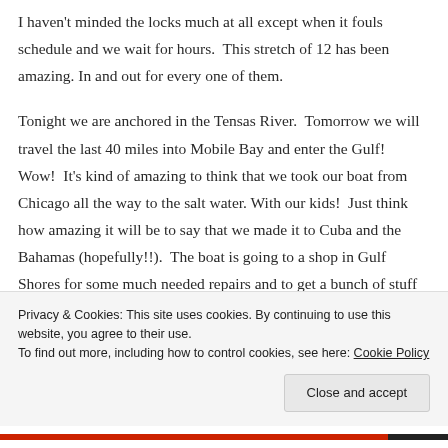I haven't minded the locks much at all except when it fouls schedule and we wait for hours.  This stretch of 12 has been amazing. In and out for every one of them.
Tonight we are anchored in the Tensas River.  Tomorrow we will travel the last 40 miles into Mobile Bay and enter the Gulf!  Wow!  It's kind of amazing to think that we took our boat from Chicago all the way to the salt water. With our kids!  Just think how amazing it will be to say that we made it to Cuba and the Bahamas (hopefully!!).  The boat is going to a shop in Gulf Shores for some much needed repairs and to get a bunch of stuff
Privacy & Cookies: This site uses cookies. By continuing to use this website, you agree to their use.
To find out more, including how to control cookies, see here: Cookie Policy